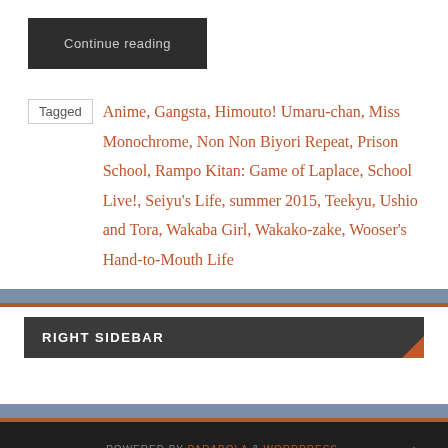Continue reading
Tagged Anime, Gangsta, Himouto! Umaru-chan, Miss Monochrome, Non Non Biyori Repeat, Prison School, Rampo Kitan: Game of Laplace, School Live!, Seiyu's Life, summer 2015, Teekyu, Ushio and Tora, Wakaba Girl, Wakako-zake, Wooser's Hand-to-Mouth Life
RIGHT SIDEBAR
POWERED BY PARABOLA & WORDPRESS.